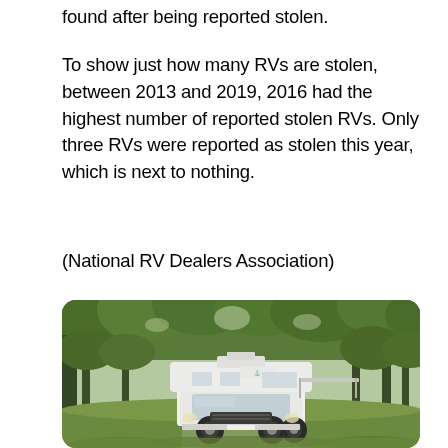found after being reported stolen.
To show just how many RVs are stolen, between 2013 and 2019, 2016 had the highest number of reported stolen RVs. Only three RVs were reported as stolen this year, which is next to nothing.
(National RV Dealers Association)
[Figure (photo): A white RV/motorhome parked on a green grassy area surrounded by lush green trees in a forested setting.]